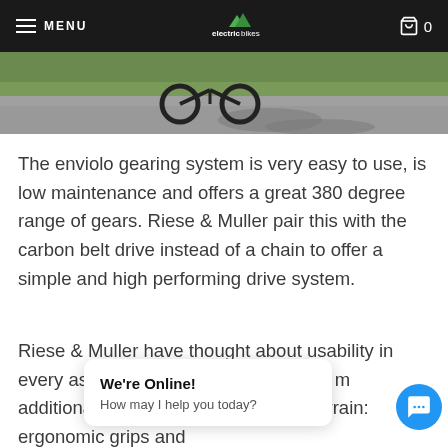MENU | electricbikes | 🛒 0
[Figure (photo): Cropped photo of bicycle wheels on a path with grass and a bicycle lane symbol painted on asphalt]
The enviolo gearing system is very easy to use, is low maintenance and offers a great 380 degree range of gears. Riese & Muller pair this with the carbon belt drive instead of a chain to offer a simple and high performing drive system.
Riese & Muller have thought about usability in every aspect of the design: extra-thick m... additional support arm... rougher terrain: ergonomic grips and
We're Online!
How may I help you today?